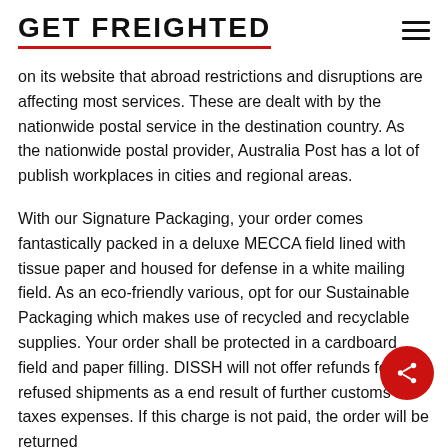GET FREIGHTED
on its website that abroad restrictions and disruptions are affecting most services. These are dealt with by the nationwide postal service in the destination country. As the nationwide postal provider, Australia Post has a lot of publish workplaces in cities and regional areas.
With our Signature Packaging, your order comes fantastically packed in a deluxe MECCA field lined with tissue paper and housed for defense in a white mailing field. As an eco-friendly various, opt for our Sustainable Packaging which makes use of recycled and recyclable supplies. Your order shall be protected in a cardboard field and paper filling. DISSH will not offer refunds for any refused shipments as a end result of further customs & taxes expenses. If this charge is not paid, the order will be returned